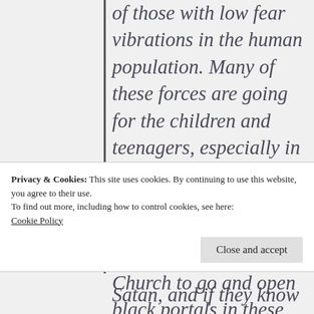of those with low fear vibrations in the human population. Many of these forces are going for the children and teenagers, especially in the impoverished areas because they are vulnerable. These forces have told the Satanic Church to go and open black portals in these areas in order to get the Black hole systems opened directly in
Privacy & Cookies: This site uses cookies. By continuing to use this website, you agree to their use.
To find out more, including how to control cookies, see here:
Cookie Policy
Close and accept
Satan, and if they know Satan is